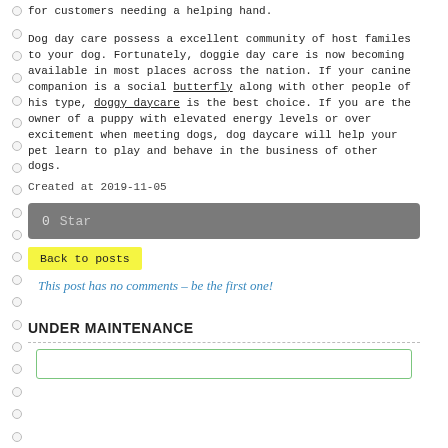for customers needing a helping hand.
Dog day care possess a excellent community of host familes to your dog. Fortunately, doggie day care is now becoming available in most places across the nation. If your canine companion is a social butterfly along with other people of his type, doggy daycare is the best choice. If you are the owner of a puppy with elevated energy levels or over excitement when meeting dogs, dog daycare will help your pet learn to play and behave in the business of other dogs.
Created at 2019-11-05
0   Star
Back to posts
This post has no comments - be the first one!
UNDER MAINTENANCE